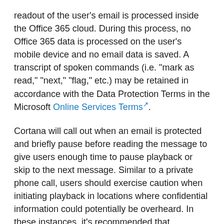readout of the user's email is processed inside the Office 365 cloud. During this process, no Office 365 data is processed on the user's mobile device and no email data is saved. A transcript of spoken commands (i.e. "mark as read," "next," "flag," etc.) may be retained in accordance with the Data Protection Terms in the Microsoft Online Services Terms.
Cortana will call out when an email is protected and briefly pause before reading the message to give users enough time to pause playback or skip to the next message. Similar to a private phone call, users should exercise caution when initiating playback in locations where confidential information could potentially be overheard. In these instances, it's recommended that employees of your organization wear headphones in appropriate environments when using Play My Emails in Outlook mobile.